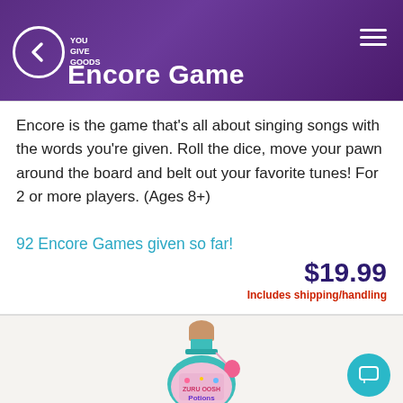Encore Game
Encore is the game that's all about singing songs with the words you're given. Roll the dice, move your pawn around the board and belt out your favorite tunes! For 2 or more players. (Ages 8+)
92 Encore Games given so far!
$19.99
Includes shipping/handling
[Figure (photo): A teal decorative bottle with a cork stopper, pink floral tag, and colorful label showing 'ZURU OOSH Potions' branding]